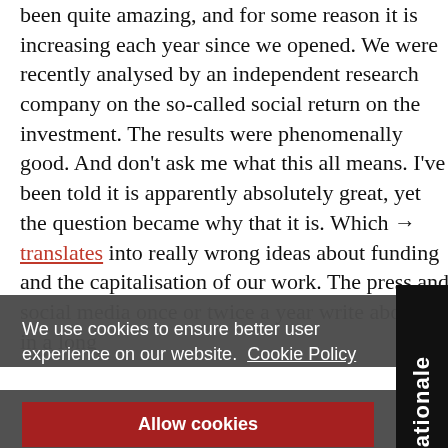been quite amazing, and for some reason it is increasing each year since we opened. We were recently analysed by an independent research company on the so-called social return on the investment. The results were phenomenally good. And don't ask me what this all means. I've been told it is apparently absolutely great, yet the question became why that it is. Which → translates into really wrong ideas about funding and the capitalisation of our work. The press and social media once or twice a year write about us in a long [...]ye[...] [...] [...]rha[...] greater effect than expected? Have we touched tho[...]
We use cookies to ensure better user experience on our website. Cookie Policy
Allow cookies